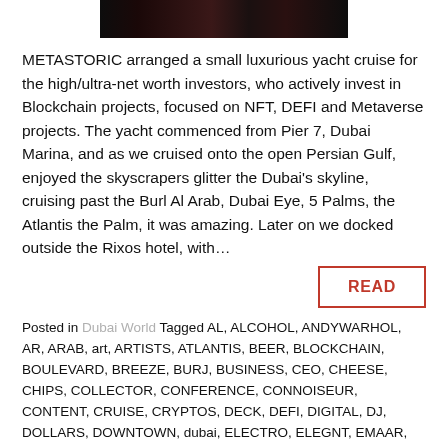[Figure (photo): Dark colorful image strip at top of page, partially cropped]
METASTORIC arranged a small luxurious yacht cruise for the high/ultra-net worth investors, who actively invest in Blockchain projects, focused on NFT, DEFI and Metaverse projects. The yacht commenced from Pier 7, Dubai Marina, and as we cruised onto the open Persian Gulf, enjoyed the skyscrapers glitter the Dubai's skyline, cruising past the Burl Al Arab, Dubai Eye, 5 Palms, the Atlantis the Palm, it was amazing. Later on we docked outside the Rixos hotel, with…
READ
Posted in Dubai World Tagged AL, ALCOHOL, ANDYWARHOL, AR, ARAB, art, ARTISTS, ATLANTIS, BEER, BLOCKCHAIN, BOULEVARD, BREEZE, BURJ, BUSINESS, CEO, CHEESE, CHIPS, COLLECTOR, CONFERENCE, CONNOISEUR, CONTENT, CRUISE, CRYPTOS, DECK, DEFI, DIGITAL, DJ, DOLLARS, DOWNTOWN, dubai, ELECTRO, ELEGNT, EMAAR, EVENING, EXPO, EYE, FABULOUS, FERRIS WHEEL, FISH, Food, FOUNDER, FOUNDRY, FROMAGE, FUND, FUTURE, GALLERY, GAMES, GBLUXE, GBLX, GBLX68, GETSAFLE, GIN, GLITTER, HNI, HOUCSE, INVEST, INVESTOR, KING, LUCLY, luxury, MAP, MARINA, MEMORY, METASTORIC, METAVERSE, MINGLE,